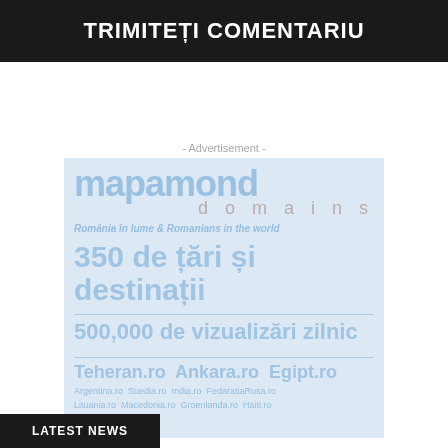TRIMITEȚI COMENTARIU
- Advertisement -
[Figure (other): Mapamond domains advertisement banner: '350 de țări și destinații', '500,000 de vizualizări zilnic', showing domain names like Teheran.ro, Ankara.ro, Egipt.ro, Argentina.ro, Suedia.ro, India.ro, FedaratiaRusa.ro, Lituania.ro, Macedonia.ro, Groenlanda.ro, Haiti.ro]
LATEST NEWS